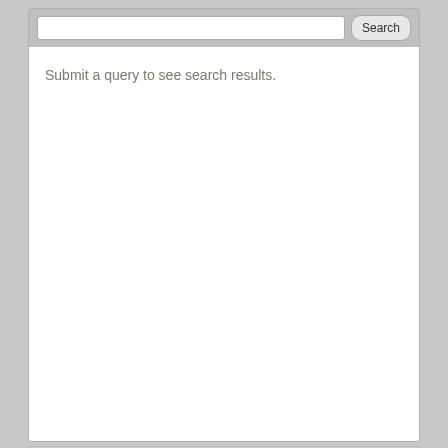[Figure (screenshot): A search interface widget showing a search bar at the top with a text input field and a 'Search' button, below which is a white results area with the message 'Submit a query to see search results.']
Submit a query to see search results.